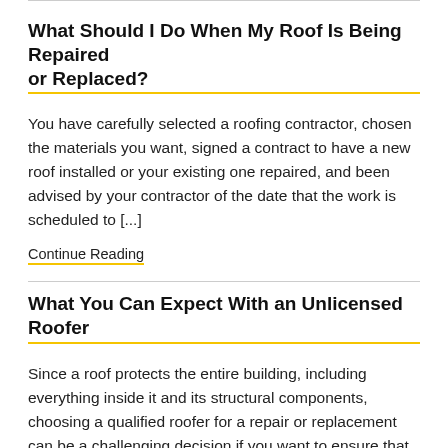What Should I Do When My Roof Is Being Repaired or Replaced?
You have carefully selected a roofing contractor, chosen the materials you want, signed a contract to have a new roof installed or your existing one repaired, and been advised by your contractor of the date that the work is scheduled to [...]
Continue Reading
What You Can Expect With an Unlicensed Roofer
Since a roof protects the entire building, including everything inside it and its structural components, choosing a qualified roofer for a repair or replacement can be a challenging decision if you want to ensure that you are